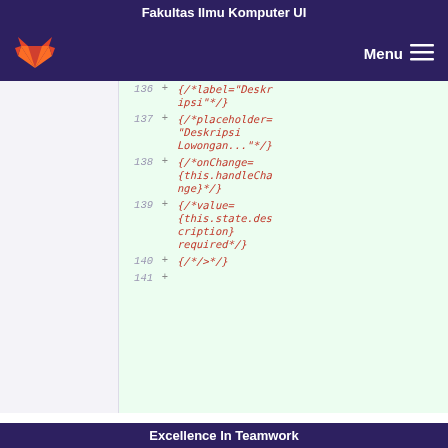Fakultas Ilmu Komputer UI
[Figure (screenshot): GitLab navigation bar with fox logo and Menu hamburger button on dark purple background]
{/*label="Deskripsi"*/}
137 + {/*placeholder="Deskripsi Lowongan..."*/}
138 + {/*onChange={this.handleChange}*/}
139 + {/*value={this.state.description} required*/}
140 + {/*/>*/}
141 +
Excellence In Teamwork